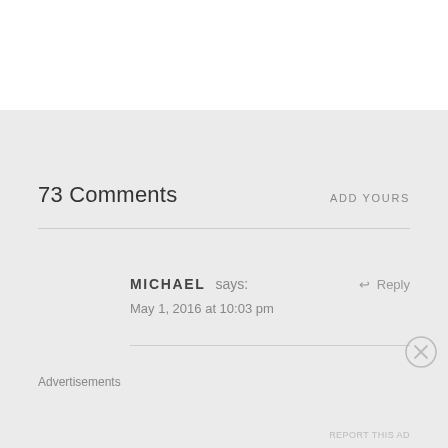73 Comments
ADD YOURS
MICHAEL says:
May 1, 2016 at 10:03 pm
↩ Reply
Advertisements
REPORT THIS AD